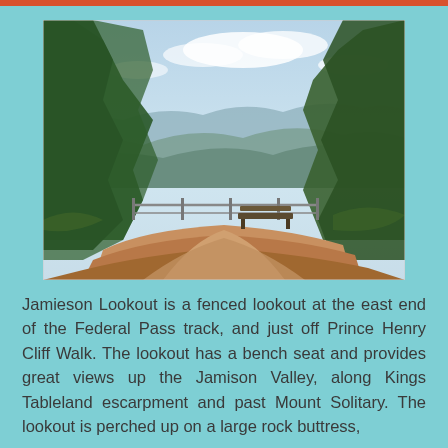[Figure (photo): Outdoor lookout point with sandy/rocky ground, a bench seat, metal railing fence at the edge, trees framing both sides, and a wide valley view with blue mountains and partly cloudy sky in the background.]
Jamieson Lookout is a fenced lookout at the east end of the Federal Pass track, and just off Prince Henry Cliff Walk. The lookout has a bench seat and provides great views up the Jamison Valley, along Kings Tableland escarpment and past Mount Solitary. The lookout is perched up on a large rock buttress,